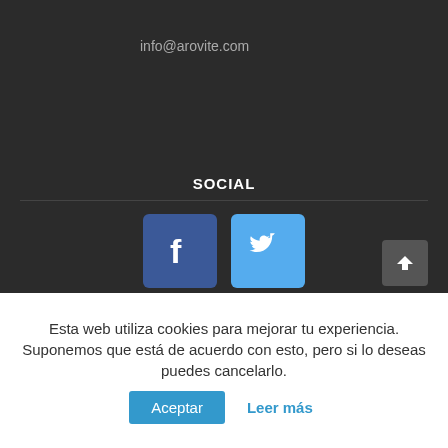info@arovite.com
SOCIAL
[Figure (logo): Facebook and Twitter social media icons side by side]
ÚLTIMOS TWEETS
Se acaba el año y desde Arovite queremos
Esta web utiliza cookies para mejorar tu experiencia. Suponemos que está de acuerdo con esto, pero si lo deseas puedes cancelarlo.